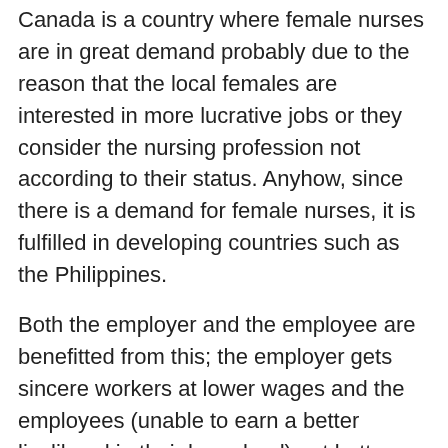Canada is a country where female nurses are in great demand probably due to the reason that the local females are interested in more lucrative jobs or they consider the nursing profession not according to their status. Anyhow, since there is a demand for female nurses, it is fulfilled in developing countries such as the Philippines.
Both the employer and the employee are benefitted from this; the employer gets sincere workers at lower wages and the employees (unable to earn a better livelihood in their homeland) get better salaries (as compared to the salaries in their homeland). But the immigration policy of Canada is believed to be detrimental to the family lives of such immigrants (female nurses). Canadian immigration policy does not allow immigrant workers to bring their families until they have successfully completed a couple of years in their respective jobs (Cohen 2000).
In their predicament, the people have need for a...